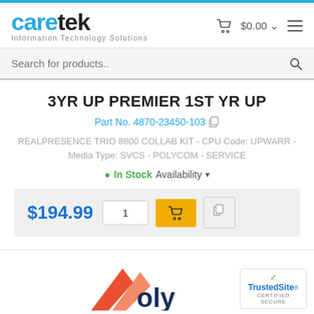caretek Information Technology Solutions
Search for products..
3YR UP PREMIER 1ST YR UP
Part No. 4870-23450-103
REALPRESENCE TRIO 8800 COLLAB KIT - CPU Code: UPWARR - Media Type: SVCS - POLYCOM - SERVICE
● In Stock Availability ▾
$194.99  1  [Add to Cart]
[Figure (logo): Partial Polycom logo visible at bottom of page]
[Figure (logo): TrustedSite Certified Secure badge]